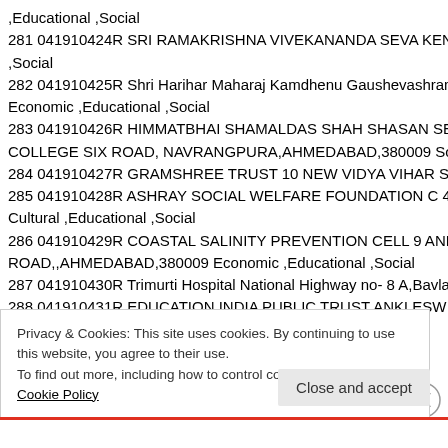,Educational ,Social
281 041910424R SRI RAMAKRISHNA VIVEKANANDA SEVA KEN ,Social
282 041910425R Shri Harihar Maharaj Kamdhenu Gaushevashram Economic ,Educational ,Social
283 041910426R HIMMATBHAI SHAMALDAS SHAH SHASAN SE COLLEGE SIX ROAD, NAVRANGPURA,AHMEDABAD,380009 So
284 041910427R GRAMSHREE TRUST 10 NEW VIDYA VIHAR SO
285 041910428R ASHRAY SOCIAL WELFARE FOUNDATION C 40 Cultural ,Educational ,Social
286 041910429R COASTAL SALINITY PREVENTION CELL 9 AND ROAD,,AHMEDABAD,380009 Economic ,Educational ,Social
287 041910430R Trimurti Hospital National Highway no- 8 A,Bavla,
288 041910431R EDUCATION INDIA PUBLIC TRUST ANKLESW
Privacy & Cookies: This site uses cookies. By continuing to use this website, you agree to their use.
To find out more, including how to control cookies, see here: Cookie Policy
Close and accept